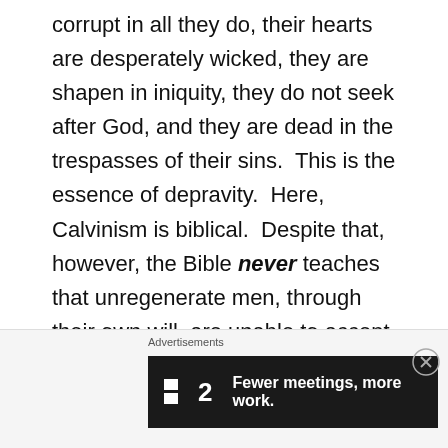corrupt in all they do, their hearts are desperately wicked, they are shapen in iniquity, they do not seek after God, and they are dead in the trespasses of their sins.  This is the essence of depravity.  Here, Calvinism is biblical.  Despite that, however, the Bible never teaches that unregenerate men, through their own will, are unable to accept Christ and be saved.  In fact, it teaches just the opposite.  Here, Calvinism is unbiblical.  For example: in Acts 14:16, God commands all men to repent, not just some men.
[Figure (other): Advertisement banner: Flat2 logo with text 'Fewer meetings, more work.' on dark background]